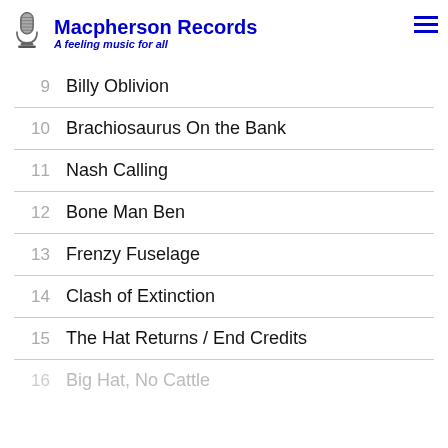Macpherson Records — A feeling music for all
9   Billy Oblivion
10  Brachiosaurus On the Bank
11  Nash Calling
12  Bone Man Ben
13  Frenzy Fuselage
14  Clash of Extinction
15  The Hat Returns / End Credits
16  Big Hat, No Cattle